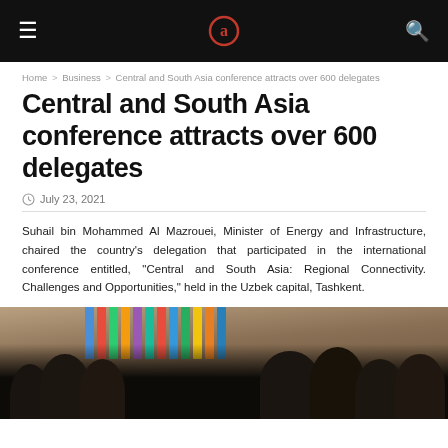Navigation bar with menu, logo, and search
Home > Business > Central and South Asia conference attracts over 600 delegates
Central and South Asia conference attracts over 600 delegates
July 23, 2021
Suhail bin Mohammed Al Mazrouei, Minister of Energy and Infrastructure, chaired the country's delegation that participated in the international conference entitled, "Central and South Asia: Regional Connectivity. Challenges and Opportunities," held in the Uzbek capital, Tashkent.
[Figure (photo): Delegates in traditional attire at the Central and South Asia conference with colorful national flags in the background at Tashkent venue.]